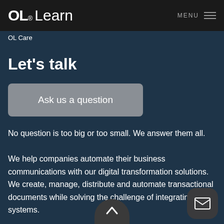OL® Learn   MENU
OL Care
Let's talk
Ask us a question
No question is too big or too small. We answer them all.
We help companies automate their business communications with our digital transformation solutions. We create, manage, distribute and automate transactional documents while solving the challenge of integrating systems.